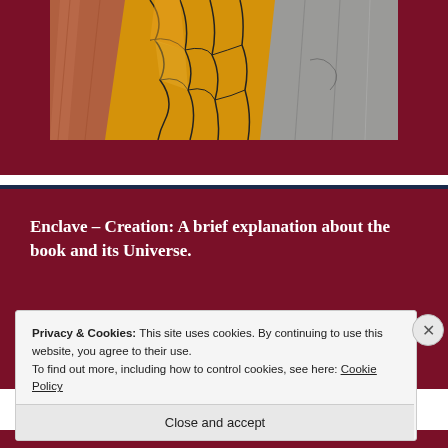[Figure (illustration): Artwork showing textured surfaces with cracked yellow/orange patterns, reddish-brown wood grain, and grey stone textures, set against a dark maroon background.]
Enclave – Creation: A brief explanation about the book and its Universe.
Privacy & Cookies: This site uses cookies. By continuing to use this website, you agree to their use.
To find out more, including how to control cookies, see here: Cookie Policy
Close and accept